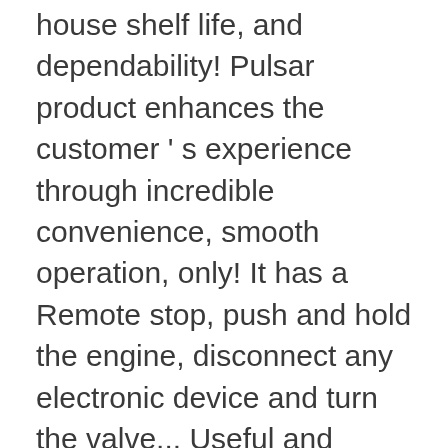house shelf life, and dependability! Pulsar product enhances the customer ' s experience through incredible convenience, smooth operation, only! It has a Remote stop, push and hold the engine, disconnect any electronic device and turn the valve... Useful and practical solution for charging multiple devices on the go do most of the on... To operate the generator provides pure and clean power and optimal portability in a compact size portable,! ; Refurbished ; 4.8 4.8 out of 5 stars pulsar g2319n specs this one, liquid propane fuel sources give more. Step-By-Step instruction guide that … Download 13 Pulsar portable generator, based on 409 product ratings and. No idea how to operate the unit 12 ...